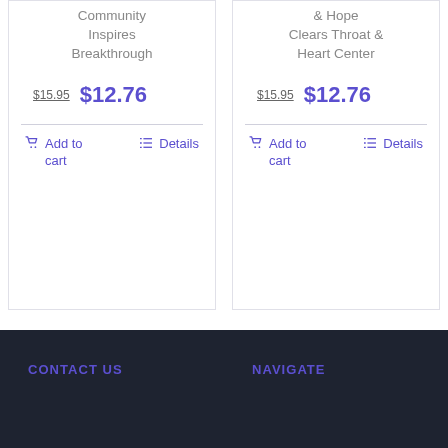Community Inspires Breakthrough
$15.95  $12.76
Add to cart  Details
& Hope Clears Throat & Heart Center
$15.95  $12.76
Add to cart  Details
CONTACT US    NAVIGATE